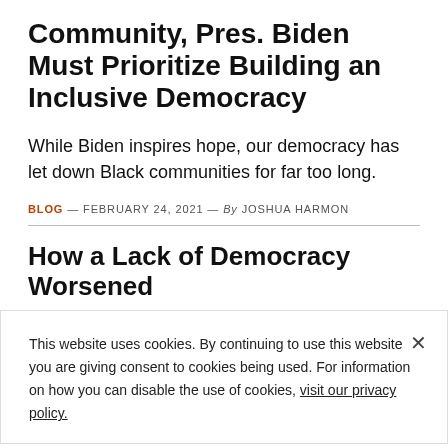Community, Pres. Biden Must Prioritize Building an Inclusive Democracy
While Biden inspires hope, our democracy has let down Black communities for far too long.
BLOG — FEBRUARY 24, 2021 — By JOSHUA HARMON
How a Lack of Democracy Worsened
This website uses cookies. By continuing to use this website you are giving consent to cookies being used. For information on how you can disable the use of cookies, visit our privacy policy.